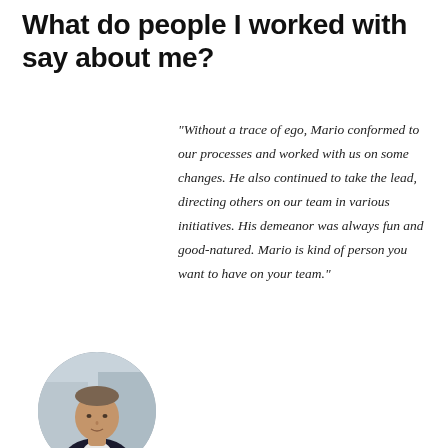What do people I worked with say about me?
[Figure (photo): Circular portrait photo of a man in a dark blazer and white shirt, photographed outdoors with a blurred urban background.]
“Without a trace of ego, Mario conformed to our processes and worked with us on some changes. He also continued to take the lead, directing others on our team in various initiatives. His demeanor was always fun and good-natured. Mario is kind of person you want to have on your team.”